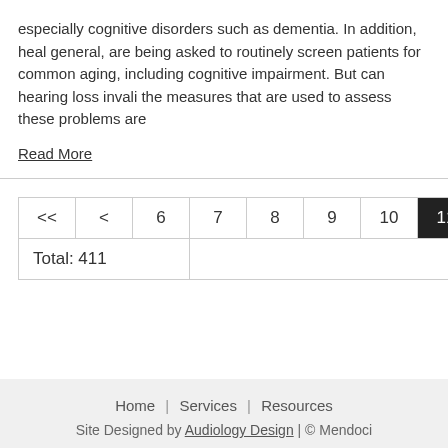especially cognitive disorders such as dementia. In addition, heal general, are being asked to routinely screen patients for common aging, including cognitive impairment. But can hearing loss invali the measures that are used to assess these problems are
Read More
| << | < | 6 | 7 | 8 | 9 | 10 | 11 | 12 | 13 | 14 |
| --- | --- | --- | --- | --- | --- | --- | --- | --- | --- | --- |
| Total: 411 |
Home | Services | Resources
Site Designed by Audiology Design | © Mendoci